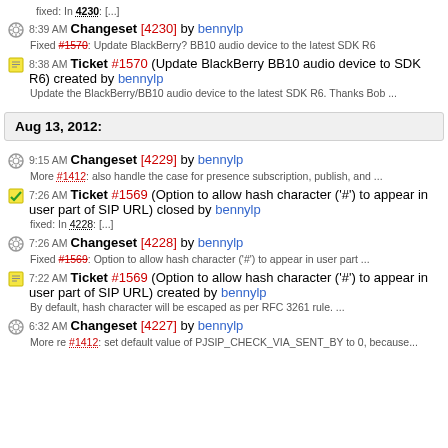fixed: In 4230: [...]
8:39 AM Changeset [4230] by bennylp — Fixed #1570: Update BlackBerry? BB10 audio device to the latest SDK R6
8:38 AM Ticket #1570 (Update BlackBerry BB10 audio device to SDK R6) created by bennylp — Update the BlackBerry/BB10 audio device to the latest SDK R6. Thanks Bob ...
Aug 13, 2012:
9:15 AM Changeset [4229] by bennylp — More #1412: also handle the case for presence subscription, publish, and ...
7:26 AM Ticket #1569 (Option to allow hash character ('#') to appear in user part of SIP URL) closed by bennylp — fixed: In 4228: [...]
7:26 AM Changeset [4228] by bennylp — Fixed #1569: Option to allow hash character ('#') to appear in user part ...
7:22 AM Ticket #1569 (Option to allow hash character ('#') to appear in user part of SIP URL) created by bennylp — By default, hash character will be escaped as per RFC 3261 rule. ...
6:32 AM Changeset [4227] by bennylp — More re #1412: set default value of PJSIP_CHECK_VIA_SENT_BY to 0, because...